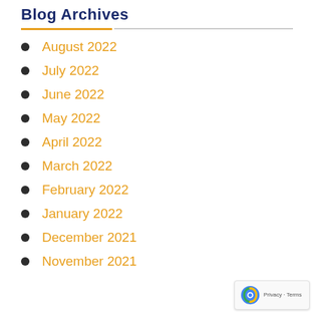Blog Archives
August 2022
July 2022
June 2022
May 2022
April 2022
March 2022
February 2022
January 2022
December 2021
November 2021